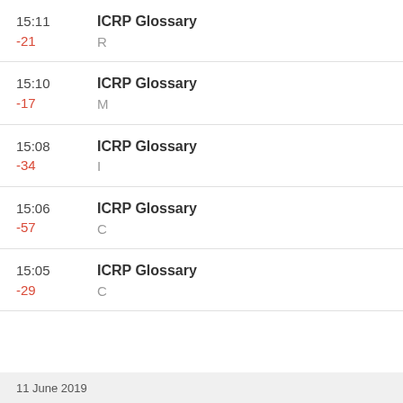15:11 -21 ICRP Glossary R
15:10 -17 ICRP Glossary M
15:08 -34 ICRP Glossary I
15:06 -57 ICRP Glossary C
15:05 -29 ICRP Glossary C
11 June 2019